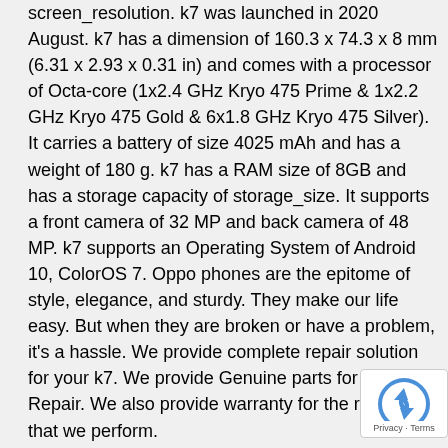screen_resolution. k7 was launched in 2020 August. k7 has a dimension of 160.3 x 74.3 x 8 mm (6.31 x 2.93 x 0.31 in) and comes with a processor of Octa-core (1x2.4 GHz Kryo 475 Prime & 1x2.2 GHz Kryo 475 Gold & 6x1.8 GHz Kryo 475 Silver). It carries a battery of size 4025 mAh and has a weight of 180 g. k7 has a RAM size of 8GB and has a storage capacity of storage_size. It supports a front camera of 32 MP and back camera of 48 MP. k7 supports an Operating System of Android 10, ColorOS 7. Oppo phones are the epitome of style, elegance, and sturdy. They make our life easy. But when they are broken or have a problem, it's a hassle. We provide complete repair solution for your k7. We provide Genuine parts for your Repair. We also provide warranty for the repairs that we perform.
You need a professional and trust worthy Oppo service center to get the repair done. The team at HelpForSure offers genuine Oppo parts repair and service. The skilled technicians can fix the most common problems like battery heating, screen damage, or MIC repair and also address rare problems like water damage.
Oppo Mobile Phones are famous for the camera resolution Powered Camera software. Oppo smartphones are the preferred choice in the Mid Category Smartphone Segment.